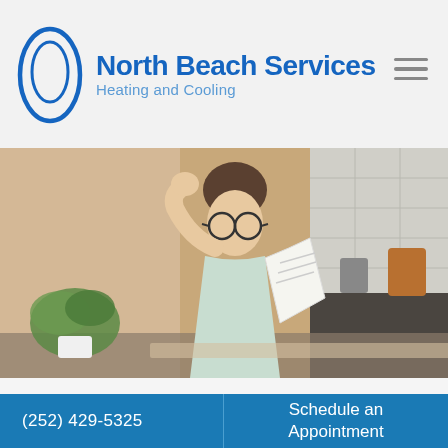[Figure (logo): North Beach Services Heating and Cooling logo with blue oval ellipse graphic and blue bold text]
[Figure (photo): Woman with glasses sitting at a kitchen table looking stressed while reading a document/bill, with a plant and kitchen background]
(252) 429-5325
Schedule an Appointment